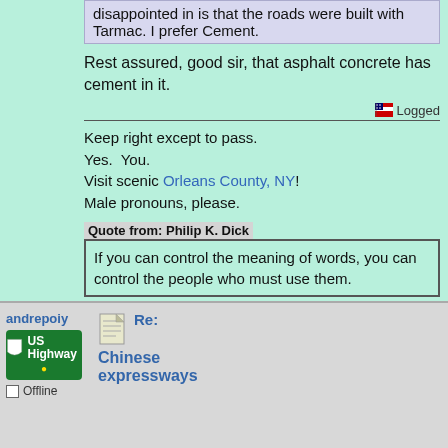disappointed in is that the roads were built with Tarmac. I prefer Cement.
Rest assured, good sir, that asphalt concrete has cement in it.
Logged
Keep right except to pass.
Yes.  You.
Visit scenic Orleans County, NY!
Male pronouns, please.
Quote from: Philip K. Dick
If you can control the meaning of words, you can control the people who must use them.
andrepoiy
[Figure (illustration): US Highway green shield road sign badge]
Offline
Re:
Chinese expressways